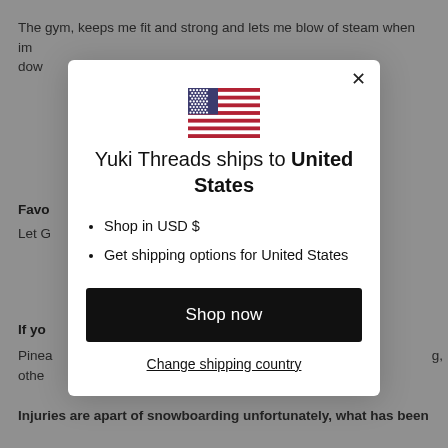The gym, keeps me fit and strong and lets me blow of steam when im down about not snowboarding
Favo
Let G
If yo
Pinea ... g, othe
[Figure (screenshot): A modal dialog popup on a website showing a US flag, the text 'Yuki Threads ships to United States', bullet points 'Shop in USD $' and 'Get shipping options for United States', a black 'Shop now' button, and a 'Change shipping country' link with a close X button in the top right.]
If yo ... it be and v
Robi
Injuries are apart of snowboarding unfortunately, what has been